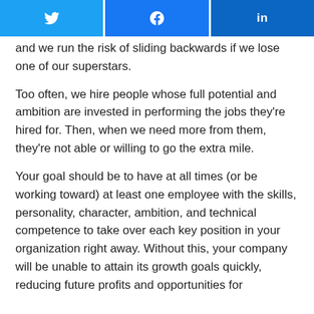[Figure (other): Social sharing buttons row: Twitter (blue), Facebook (blue), LinkedIn (dark blue)]
and we run the risk of sliding backwards if we lose one of our superstars.
Too often, we hire people whose full potential and ambition are invested in performing the jobs they're hired for. Then, when we need more from them, they're not able or willing to go the extra mile.
Your goal should be to have at all times (or be working toward) at least one employee with the skills, personality, character, ambition, and technical competence to take over each key position in your organization right away. Without this, your company will be unable to attain its growth goals quickly, reducing future profits and opportunities for